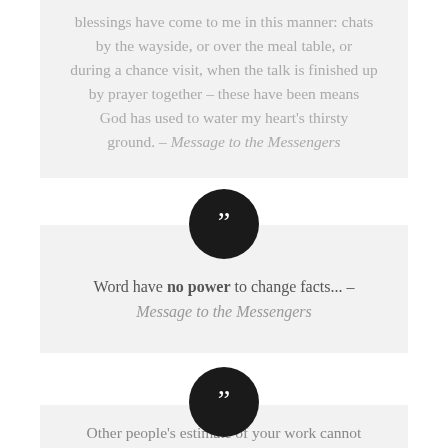blessings have come to me in this manner: chats by the wayside, or over the meal table, or during a chance visit, when the talk is finished up by prayer together – these have been means God has used to water my heart's thirsty ground. – Message to the Messengers
Word have no power to change facts... – Message to the Messengers
Other people's estimate of your work cannot change its quality. Pronouncing good work bad does not make it bad; nor does calling bad work